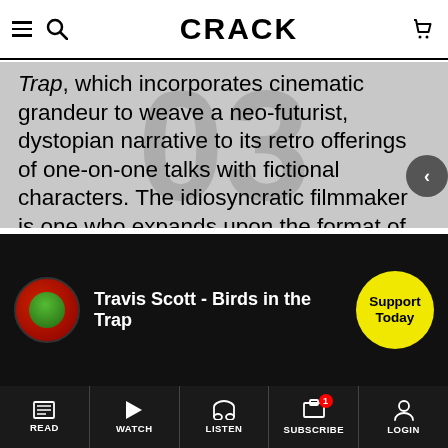CRACK
Trap, which incorporates cinematic grandeur to weave a neo-futurist, dystopian narrative to its retro offerings of one-on-one talks with fictional characters. The idiosyncratic filmmaker is one who expands upon the format of conventional music videos, boldly exploring outside the lines to show what can be achieved when rules are disregarded.
[Figure (screenshot): YouTube-style video embed showing Travis Scott - Birds in the Trap with a red circular thumbnail and a yellow 'Support Today' button overlay]
READ | WATCH | LISTEN | SUBSCRIBE | LOGIN